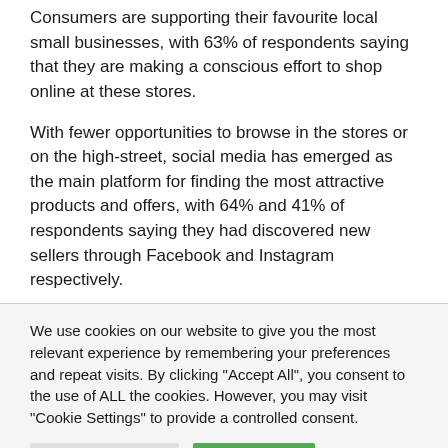Consumers are supporting their favourite local small businesses, with 63% of respondents saying that they are making a conscious effort to shop online at these stores.
With fewer opportunities to browse in the stores or on the high-street, social media has emerged as the main platform for finding the most attractive products and offers, with 64% and 41% of respondents saying they had discovered new sellers through Facebook and Instagram respectively.
We use cookies on our website to give you the most relevant experience by remembering your preferences and repeat visits. By clicking "Accept All", you consent to the use of ALL the cookies. However, you may visit "Cookie Settings" to provide a controlled consent.